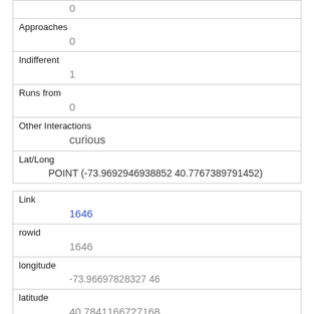| 0 |
| Approaches | 0 |
| Indifferent | 1 |
| Runs from | 0 |
| Other Interactions | curious |
| Lat/Long | POINT (-73.9692946938852 40.7767389791452) |
| Link | 1646 |
| rowid | 1646 |
| longitude | -73.96697828327 46 |
| latitude | 40.7841166727168 |